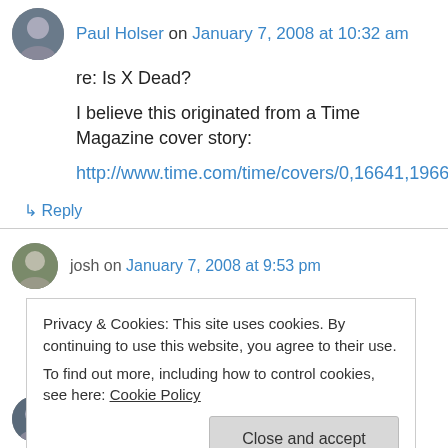Paul Holser on January 7, 2008 at 10:32 am
re: Is X Dead?
I believe this originated from a Time Magazine cover story:
http://www.time.com/time/covers/0,16641,19660408,00.html
↳ Reply
josh on January 7, 2008 at 9:53 pm
Privacy & Cookies: This site uses cookies. By continuing to use this website, you agree to their use.
To find out more, including how to control cookies, see here: Cookie Policy
Steve on January 7, 2008 at 10:41 pm